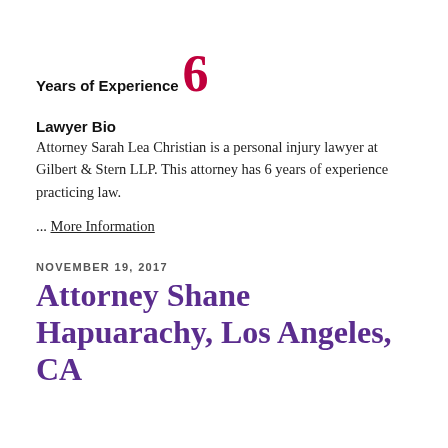Years of Experience
6
Lawyer Bio
Attorney Sarah Lea Christian is a personal injury lawyer at Gilbert & Stern LLP. This attorney has 6 years of experience practicing law.
... More Information
NOVEMBER 19, 2017
Attorney Shane Hapuarachy, Los Angeles, CA